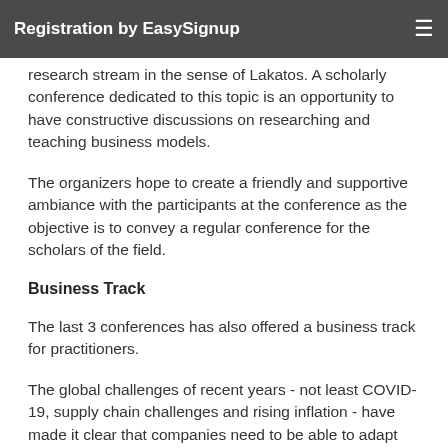Registration by EasySignup
research stream in the sense of Lakatos. A scholarly conference dedicated to this topic is an opportunity to have constructive discussions on researching and teaching business models.
The organizers hope to create a friendly and supportive ambiance with the participants at the conference as the objective is to convey a regular conference for the scholars of the field.
Business Track
The last 3 conferences has also offered a business track for practitioners.
The global challenges of recent years - not least COVID-19, supply chain challenges and rising inflation - have made it clear that companies need to be able to adapt quickly and establish new business models. This situation